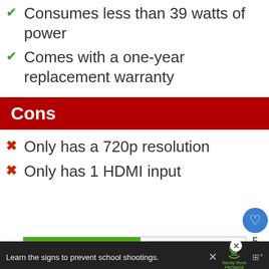Consumes less than 39 watts of power
Comes with a one-year replacement warranty
Cons
Only has a 720p resolution
Only has 1 HDMI input
[Figure (photo): Advertisement showing hands holding a heart-shaped cookie with 'cook for kids cancer' branding on green background, with a 'What's Next: Best Electric Heater For R...' overlay]
[Figure (photo): Bottom advertisement bar: 'Learn the signs to prevent school shootings.' with Sandy Hook Promise logo]